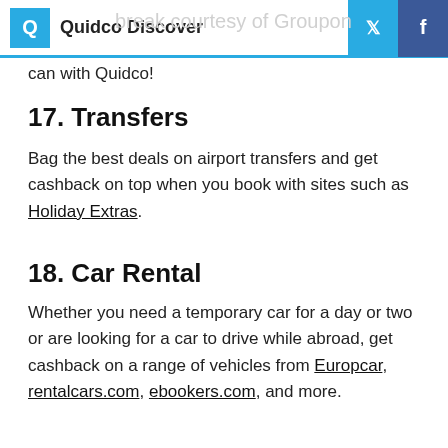Quidco Discover
can with Quidco!
17. Transfers
Bag the best deals on airport transfers and get cashback on top when you book with sites such as Holiday Extras.
18. Car Rental
Whether you need a temporary car for a day or two or are looking for a car to drive while abroad, get cashback on a range of vehicles from Europcar, rentalcars.com, ebookers.com, and more.